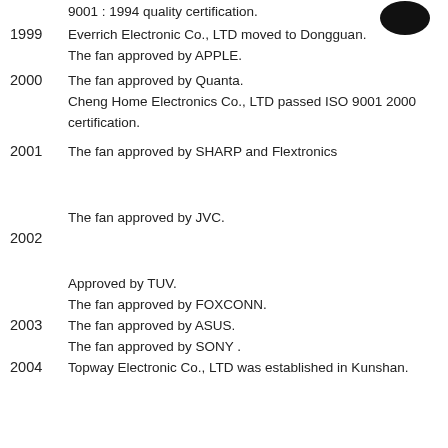9001 : 1994 quality certification.
1999 — Everrich Electronic Co., LTD moved to Dongguan.
1999 — The fan approved by APPLE.
2000 — The fan approved by Quanta.
2000 — Cheng Home Electronics Co., LTD passed ISO 9001 2000 certification.
2001 — The fan approved by SHARP and Flextronics
2002 — The fan approved by JVC.
2003 — Approved by TUV.
2003 — The fan approved by FOXCONN.
2003 — The fan approved by ASUS.
2003 — The fan approved by SONY .
2004 — Topway Electronic Co., LTD was established in Kunshan.